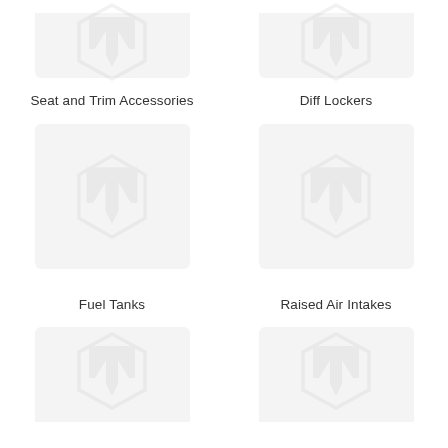[Figure (logo): Magento placeholder logo icon top-left (partially cropped)]
[Figure (logo): Magento placeholder logo icon top-right (partially cropped)]
Seat and Trim Accessories
Diff Lockers
[Figure (logo): Magento placeholder logo icon middle-left]
[Figure (logo): Magento placeholder logo icon middle-right]
Fuel Tanks
Raised Air Intakes
[Figure (logo): Magento placeholder logo icon bottom-left (partially cropped)]
[Figure (logo): Magento placeholder logo icon bottom-right (partially cropped)]